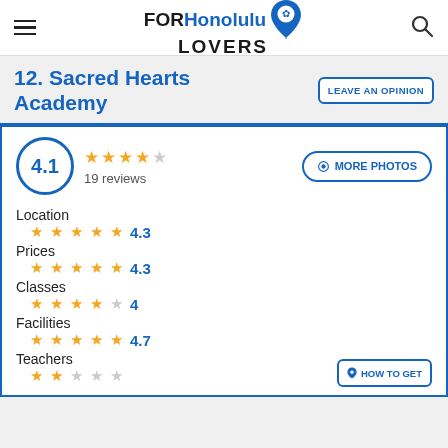FORHonolulu LOVERS
12. Sacred Hearts Academy
4.1 · 19 reviews
Location 4.3
Prices 4.3
Classes 4
Facilities 4.7
Teachers